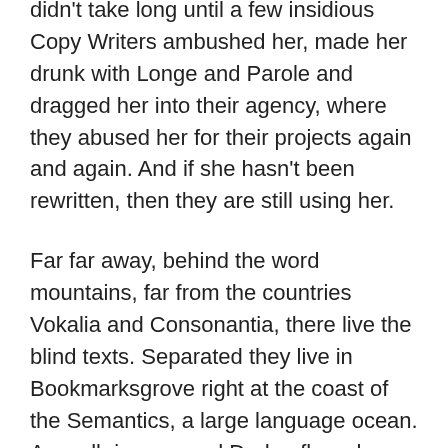didn't take long until a few insidious Copy Writers ambushed her, made her drunk with Longe and Parole and dragged her into their agency, where they abused her for their projects again and again. And if she hasn't been rewritten, then they are still using her.
Far far away, behind the word mountains, far from the countries Vokalia and Consonantia, there live the blind texts. Separated they live in Bookmarksgrove right at the coast of the Semantics, a large language ocean. A small river named Duden flows by their place and supplies it with the necessary regelialia.
Gregor then turned to look out the window at the dull weather. Drops of rain could be heard hitting the pane, which made him feel quite sad. «How about if I sleep a little bit longer and forget all this nonsense», he thought, but that was something he was unable to do because he